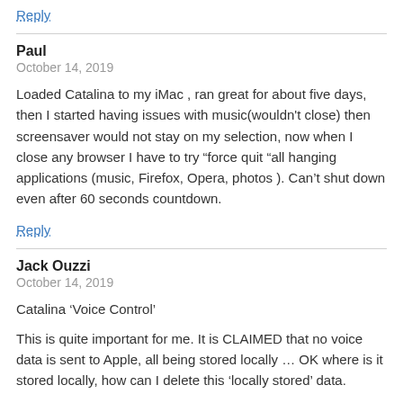Reply
Paul
October 14, 2019
Loaded Catalina to my iMac , ran great for about five days, then I started having issues with music(wouldn't close) then screensaver would not stay on my selection, now when I close any browser I have to try “force quit ”all hanging applications (music, Firefox, Opera, photos ). Can’t shut down even after 60 seconds countdown.
Reply
Jack Ouzzi
October 14, 2019
Catalina ‘Voice Control’
This is quite important for me. It is CLAIMED that no voice data is sent to Apple, all being stored locally … OK where is it stored locally, how can I delete this ‘locally stored’ data.
Anyone have a clue?